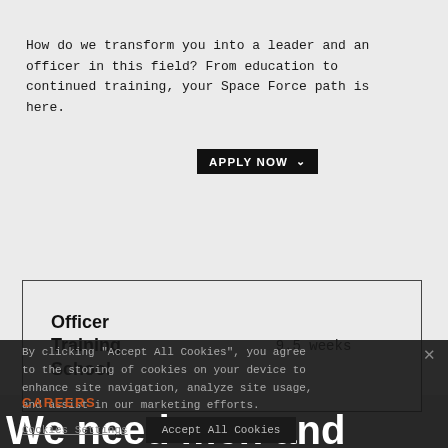How do we transform you into a leader and an officer in this field? From education to continued training, your Space Force path is here.
| Officer Training School | 9.5 weeks |
By clicking "Accept All Cookies", you agree to the storing of cookies on your device to enhance site navigation, analyze site usage, and assist in our marketing efforts.
CAREERS
We need men and